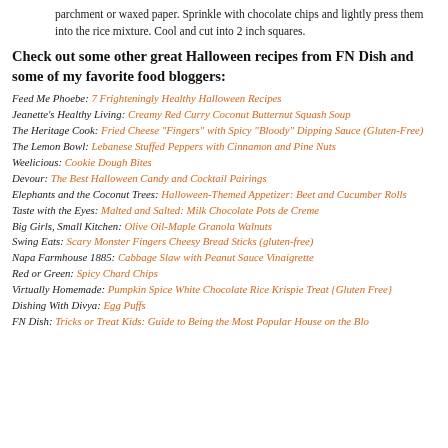parchment or waxed paper. Sprinkle with chocolate chips and lightly press them into the rice mixture. Cool and cut into 2 inch squares.
Check out some other great Halloween recipes from FN Dish and some of my favorite food bloggers:
Feed Me Phoebe: 7 Frighteningly Healthy Halloween Recipes
Jeanette's Healthy Living: Creamy Red Curry Coconut Butternut Squash Soup
The Heritage Cook: Fried Cheese "Fingers" with Spicy "Bloody" Dipping Sauce (Gluten-Free)
The Lemon Bowl: Lebanese Stuffed Peppers with Cinnamon and Pine Nuts
Weelicious: Cookie Dough Bites
Devour: The Best Halloween Candy and Cocktail Pairings
Elephants and the Coconut Trees: Halloween-Themed Appetizer: Beet and Cucumber Rolls
Taste with the Eyes: Malted and Salted: Milk Chocolate Pots de Creme
Big Girls, Small Kitchen: Olive Oil-Maple Granola Walnuts
Swing Eats: Scary Monster Fingers Cheesy Bread Sticks (gluten-free)
Napa Farmhouse 1885: Cabbage Slaw with Peanut Sauce Vinaigrette
Red or Green: Spicy Chard Chips
Virtually Homemade: Pumpkin Spice White Chocolate Rice Krispie Treat {Gluten Free}
Dishing With Divya: Egg Puffs
FN Dish: Tricks or Treat Kids: Guide to Being the Most Popular House on the Block